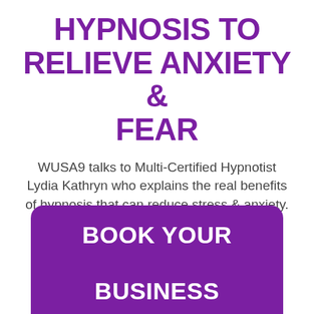HYPNOSIS TO RELIEVE ANXIETY & FEAR
WUSA9 talks to Multi-Certified Hypnotist Lydia Kathryn who explains the real benefits of hypnosis that can reduce stress & anxiety.
BOOK YOUR BUSINESS BREAKTHROUGH CALL »